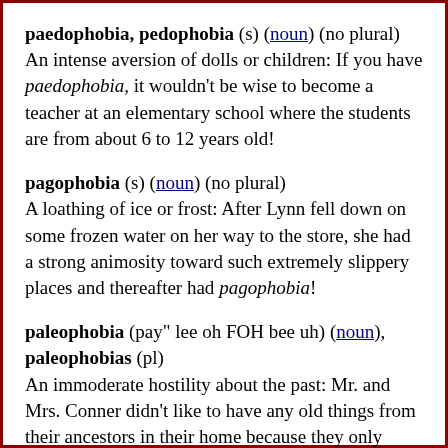paedophobia, pedophobia (s) (noun) (no plural)
An intense aversion of dolls or children: If you have paedophobia, it wouldn't be wise to become a teacher at an elementary school where the students are from about 6 to 12 years old!
pagophobia (s) (noun) (no plural)
A loathing of ice or frost: After Lynn fell down on some frozen water on her way to the store, she had a strong animosity toward such extremely slippery places and thereafter had pagophobia!
paleophobia (pay" lee oh FOH bee uh) (noun), paleophobias (pl)
An immoderate hostility about the past: Mr. and Mrs. Conner didn't like to have any old things from their ancestors in their home because they only wanted to have contemporary furniture.